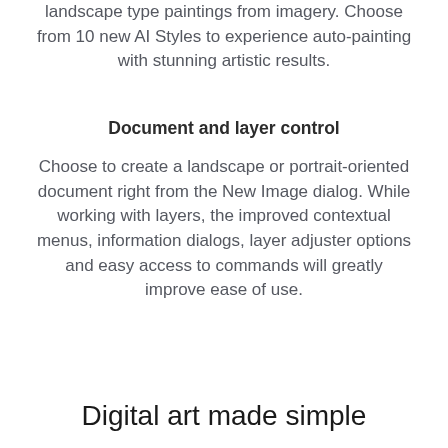landscape type paintings from imagery. Choose from 10 new AI Styles to experience auto-painting with stunning artistic results.
Document and layer control
Choose to create a landscape or portrait-oriented document right from the New Image dialog. While working with layers, the improved contextual menus, information dialogs, layer adjuster options and easy access to commands will greatly improve ease of use.
Digital art made simple